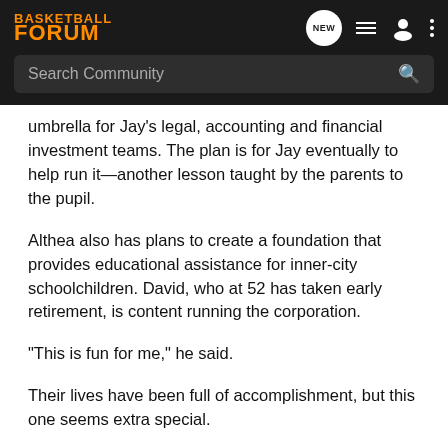BASKETBALL FORUM
umbrella for Jay's legal, accounting and financial investment teams. The plan is for Jay eventually to help run it—another lesson taught by the parents to the pupil.
Althea also has plans to create a foundation that provides educational assistance for inner-city schoolchildren. David, who at 52 has taken early retirement, is content running the corporation.
"This is fun for me," he said.
Their lives have been full of accomplishment, but this one seems extra special.
"Jason likes to please, but he has this sense of discerning what